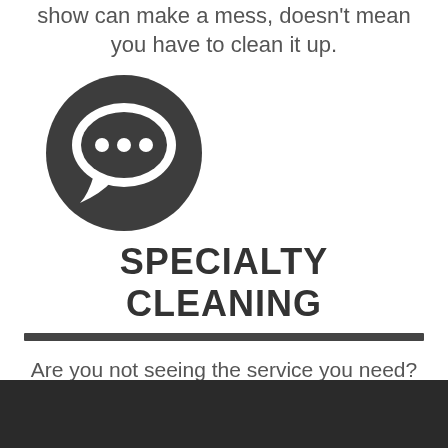show can make a mess, doesn't mean you have to clean it up.
[Figure (illustration): Chat bubble icon with three dots inside, dark gray circle background]
SPECIALTY CLEANING
Are you not seeing the service you need? Specialty cleaning is upon request for your exhibit area.
[Figure (photo): Dark background photo strip at the bottom of the page]